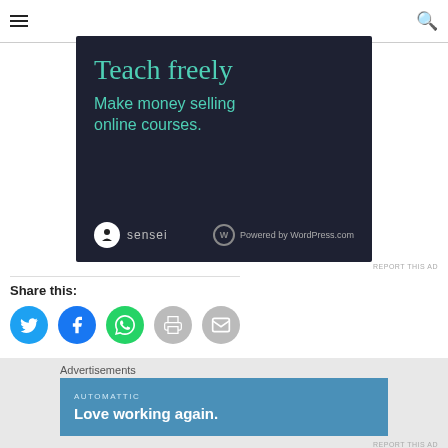≡  🔍
[Figure (infographic): Dark navy advertisement banner for Sensei plugin. Text: 'Teach freely' in large teal serif font. 'Make money selling online courses.' in smaller teal text. Bottom: Sensei logo (white circle icon + text) and 'Powered by WordPress.com' badge.]
REPORT THIS AD
Share this:
[Figure (infographic): Row of 5 circular social share buttons: Twitter (blue), Facebook (blue), WhatsApp (green), Print (grey), Email (grey)]
Advertisements
[Figure (infographic): Blue advertisement banner. Top: 'AUTOMATTIC' in small caps. Below: 'Love working again.' in bold white text.]